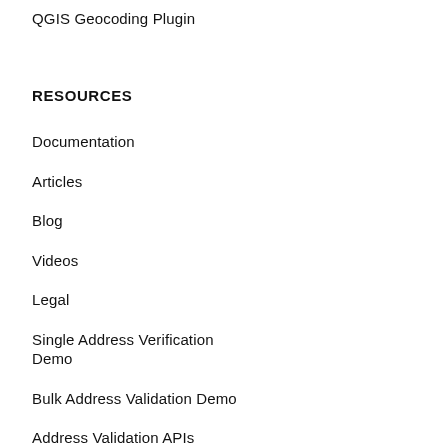QGIS Geocoding Plugin
RESOURCES
Documentation
Articles
Blog
Videos
Legal
Single Address Verification Demo
Bulk Address Validation Demo
Address Validation APIs
System Status